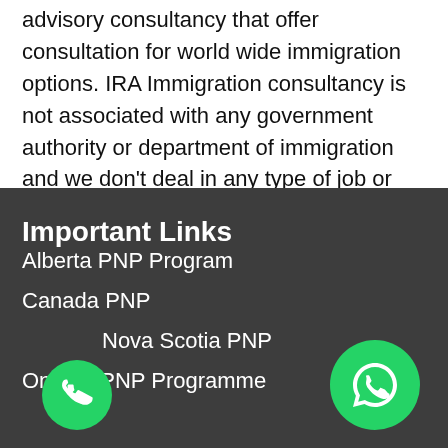advisory consultancy that offer consultation for world wide immigration options. IRA Immigration consultancy is not associated with any government authority or department of immigration and we don't deal in any type of job or job assistance services.
Important Links
Alberta PNP Program
Canada PNP
Nova Scotia PNP
Ontario PNP Programme